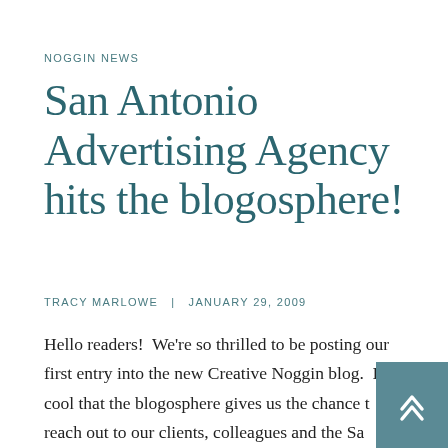NOGGIN NEWS
San Antonio Advertising Agency hits the blogosphere!
TRACY MARLOWE  |  JANUARY 29, 2009
Hello readers!  We're so thrilled to be posting our first entry into the new Creative Noggin blog.  It's so cool that the blogosphere gives us the chance to reach out to our clients, colleagues and the San Antonio and South Texas Marketing Community, and